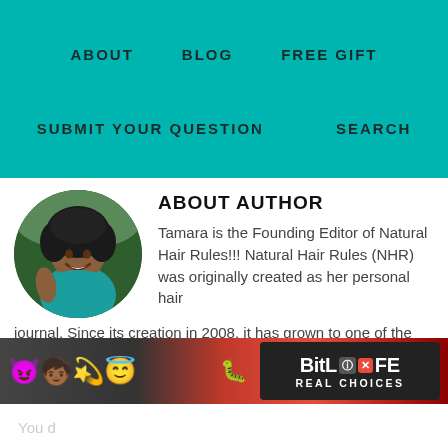ABOUT   BLOG   FREE GIFT   SUBMIT YOUR QUESTION   SEARCH
ABOUT AUTHOR
[Figure (photo): Circular portrait photo of Tamara, a Black woman with natural hair, wearing a teal/green dress, smiling outdoors]
Tamara is the Founding Editor of Natural Hair Rules!!! Natural Hair Rules (NHR) was originally created as her personal hair journal. Since its creation in 2008, it has grown to one of the top natural hair/beauty blogs online today.
[Figure (screenshot): BitLife - Real Choices advertisement banner with emoji characters and logo]